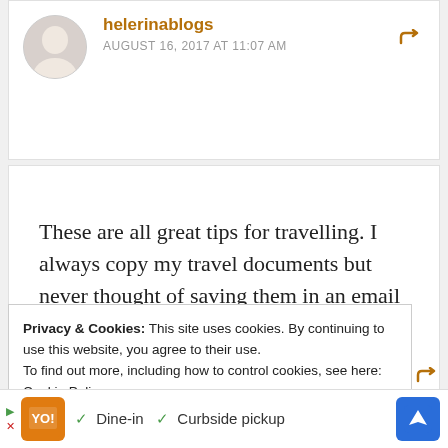helerinablogs
AUGUST 16, 2017 AT 11:07 AM
These are all great tips for travelling. I always copy my travel documents but never thought of saving them in an email or cloud storage. I'll definitely do that next time.
Privacy & Cookies: This site uses cookies. By continuing to use this website, you agree to their use.
To find out more, including how to control cookies, see here: Cookie Policy
PM
[Figure (infographic): Advertisement bar with orange logo, checkmarks for Dine-in and Curbside pickup, and blue navigation icon]